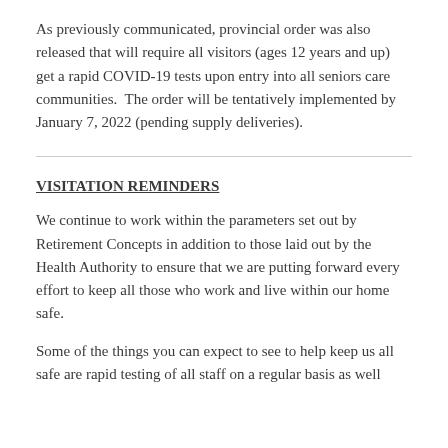As previously communicated, provincial order was also released that will require all visitors (ages 12 years and up) get a rapid COVID-19 tests upon entry into all seniors care communities.  The order will be tentatively implemented by January 7, 2022 (pending supply deliveries).
VISITATION REMINDERS
We continue to work within the parameters set out by Retirement Concepts in addition to those laid out by the Health Authority to ensure that we are putting forward every effort to keep all those who work and live within our home safe.
Some of the things you can expect to see to help keep us all safe are rapid testing of all staff on a regular basis as well